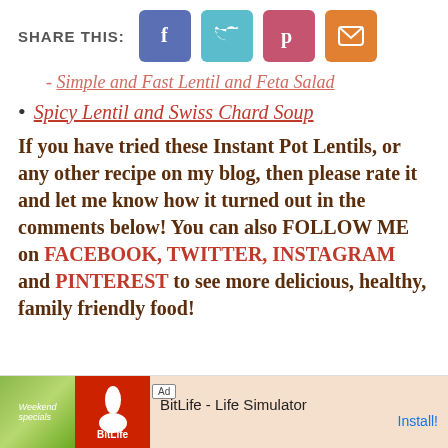[Figure (infographic): Share This bar with four social media buttons: Facebook (blue), Twitter (teal), Pinterest (pink/red), Email (orange)]
Simple and Fast Lentil and Feta Salad (partially visible, struck through)
Spicy Lentil and Swiss Chard Soup
If you have tried these Instant Pot Lentils, or any other recipe on my blog, then please rate it and let me know how it turned out in the comments below! You can also FOLLOW ME on FACEBOOK, TWITTER, INSTAGRAM and PINTEREST to see more delicious, healthy, family friendly food!
[Figure (screenshot): Advertisement banner for BitLife - Life Simulator app with green and red imagery and Install button]